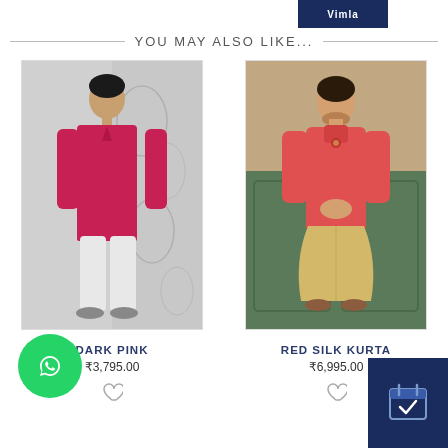[Figure (logo): Brand logo in dark blue banner at top right]
YOU MAY ALSO LIKE...
[Figure (photo): Man wearing dark pink kurta with white salwar, against silver floral background]
DARK PINK
₹3,795.00
[Figure (photo): Man wearing red silk kurta with beige dhoti, against green panelled wall background]
RED SILK KURTA
₹6,995.00